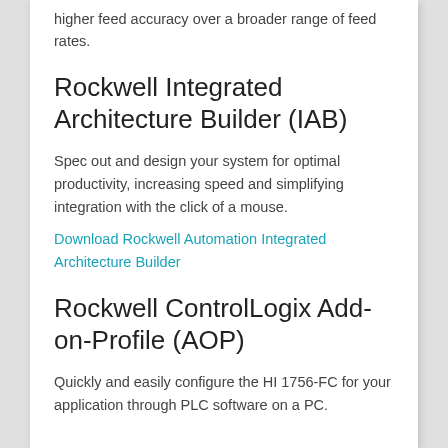higher feed accuracy over a broader range of feed rates.
Rockwell Integrated Architecture Builder (IAB)
Spec out and design your system for optimal productivity, increasing speed and simplifying integration with the click of a mouse.
Download Rockwell Automation Integrated Architecture Builder
Rockwell ControlLogix Add-on-Profile (AOP)
Quickly and easily configure the HI 1756-FC for your application through PLC software on a PC.